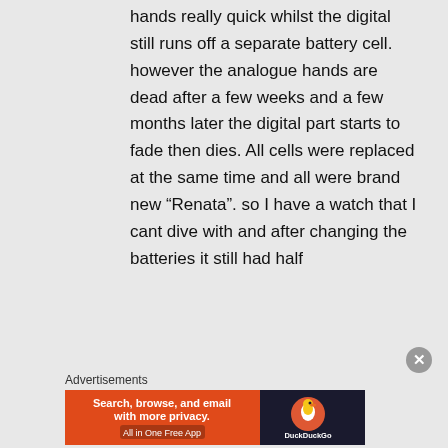hands really quick whilst the digital still runs off a separate battery cell. however the analogue hands are dead after a few weeks and a few months later the digital part starts to fade then dies. All cells were replaced at the same time and all were brand new “Renata”. so I have a watch that I cant dive with and after changing the batteries it still had half
Advertisements
[Figure (infographic): DuckDuckGo advertisement banner: orange left panel with text 'Search, browse, and email with more privacy. All in One Free App', dark right panel with DuckDuckGo logo and brand name.]